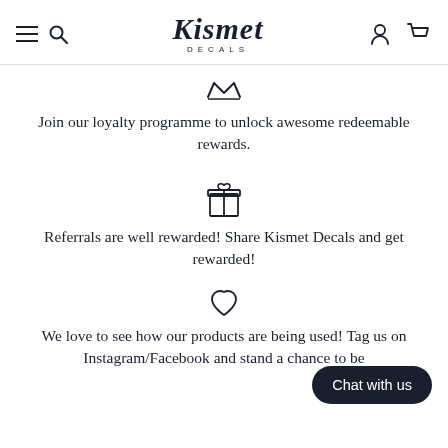Kismet DECALS
[Figure (illustration): Crown/star decorative icon above loyalty programme text]
Join our loyalty programme to unlock awesome redeemable rewards.
[Figure (illustration): Gift box icon above referrals text]
Referrals are well rewarded! Share Kismet Decals and get rewarded!
[Figure (illustration): Heart icon above social media text]
We love to see how our products are being used! Tag us on Instagram/Facebook and stand a chance to be
Chat with us